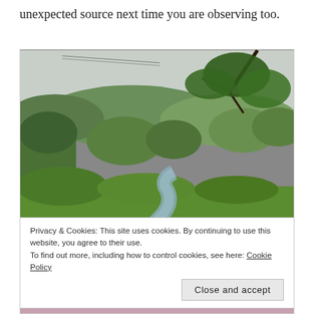unexpected source next time you are observing too.
[Figure (photo): Outdoor nature scene showing a winding river or stream in the foreground with lush green trees, shrubs, and rolling hills in the background under an overcast sky. Tree branches with leaves hang from upper right.]
Privacy & Cookies: This site uses cookies. By continuing to use this website, you agree to their use.
To find out more, including how to control cookies, see here: Cookie Policy
Close and accept